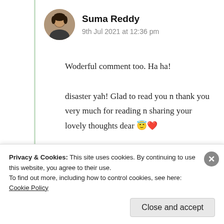[Figure (photo): Circular avatar photo of Suma Reddy]
Suma Reddy
9th Jul 2021 at 12:36 pm
Woderful comment too. Ha ha! disaster yah! Glad to read you n thank you very much for reading n sharing your lovely thoughts dear 😇❤️
★ Liked by 1 person
Log in to Reply
Privacy & Cookies: This site uses cookies. By continuing to use this website, you agree to their use.
To find out more, including how to control cookies, see here: Cookie Policy
Close and accept